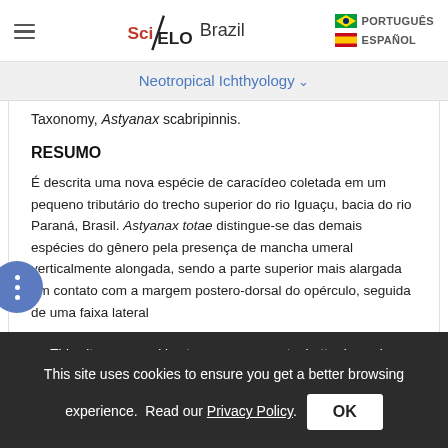SciELO Brazil | PORTUGUÊS | ESPAÑOL
Neotropical Ichthyology ∨
Taxonomy, Astyanax scabripinnis.
RESUMO
É descrita uma nova espécie de caracídeo coletada em um pequeno tributário do trecho superior do rio Iguaçu, bacia do rio Paraná, Brasil. Astyanax totae distingue-se das demais espécies do gênero pela presença de mancha umeral verticalmente alongada, sendo a parte superior mais alargada em contato com a margem postero-dorsal do opérculo, seguida de uma faixa lateral
This site uses cookies to ensure you get a better browsing experience. Read our Privacy Policy.  OK